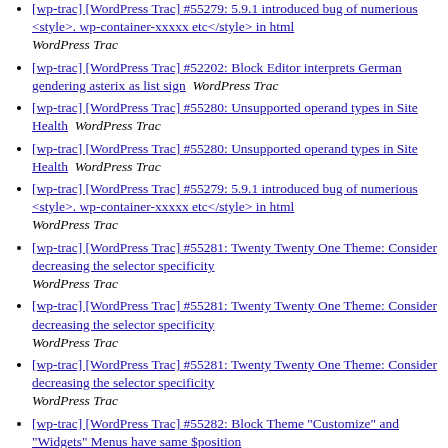[wp-trac] [WordPress Trac] #55279: 5.9.1 introduced bug of numerious <style>. wp-container-xxxxx etc</style> in html — WordPress Trac
[wp-trac] [WordPress Trac] #52202: Block Editor interprets German gendering asterix as list sign — WordPress Trac
[wp-trac] [WordPress Trac] #55280: Unsupported operand types in Site Health — WordPress Trac
[wp-trac] [WordPress Trac] #55280: Unsupported operand types in Site Health — WordPress Trac
[wp-trac] [WordPress Trac] #55279: 5.9.1 introduced bug of numerious <style>. wp-container-xxxxx etc</style> in html — WordPress Trac
[wp-trac] [WordPress Trac] #55281: Twenty Twenty One Theme: Consider decreasing the selector specificity — WordPress Trac
[wp-trac] [WordPress Trac] #55281: Twenty Twenty One Theme: Consider decreasing the selector specificity — WordPress Trac
[wp-trac] [WordPress Trac] #55281: Twenty Twenty One Theme: Consider decreasing the selector specificity — WordPress Trac
[wp-trac] [WordPress Trac] #55282: Block Theme "Customize" and "Widgets" Menus have same $position — WordPress Trac
[wp-trac] [WordPress Trac] #52423: Editing a category or a tag...